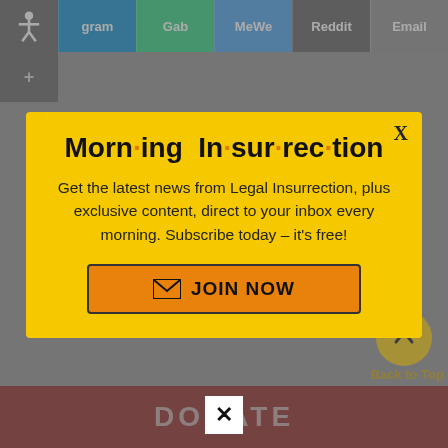[Figure (screenshot): Top navigation bar with social share buttons: gram (Telegram), Gab, MeWe, Reddit, Email, and an accessibility icon on the left]
[Figure (infographic): Yellow modal popup for Morning Insurrection newsletter subscription with JOIN NOW button]
Morn·ing In·sur·rec·tion
Get the latest news from Legal Insurrection, plus exclusive content, direct to your inbox every morning. Subscribe today – it's free!
[Figure (other): JOIN NOW orange button with envelope icon]
Back to Top
DONATE